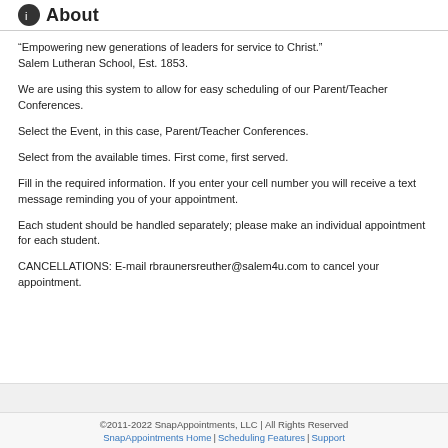About
“Empowering new generations of leaders for service to Christ.” Salem Lutheran School, Est. 1853.
We are using this system to allow for easy scheduling of our Parent/Teacher Conferences.
Select the Event, in this case, Parent/Teacher Conferences.
Select from the available times. First come, first served.
Fill in the required information. If you enter your cell number you will receive a text message reminding you of your appointment.
Each student should be handled separately; please make an individual appointment for each student.
CANCELLATIONS: E-mail rbraunersreuther@salem4u.com to cancel your appointment.
©2011-2022 SnapAppointments, LLC | All Rights Reserved
SnapAppointments Home | Scheduling Features | Support